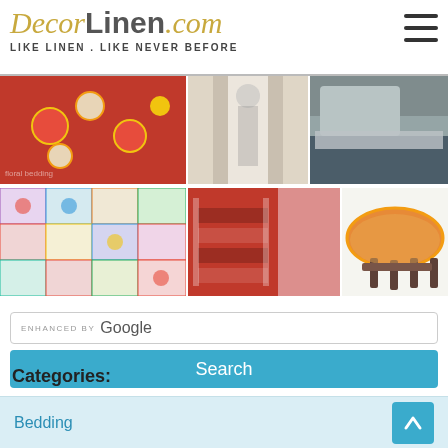[Figure (logo): DecorLinen.com logo with tagline LIKE LINEN. LIKE NEVER BEFORE and hamburger menu icon]
[Figure (photo): Grid of 7 product photos: red floral bedding, white curtain room, blue bed linen, red flower pillow, colorful quilt, red table runner with curtain, orange tablecloth on table]
[Figure (other): Google search box with text 'enhanced by Google' and blue Search button]
Categories:
Bedding
Bed Linen